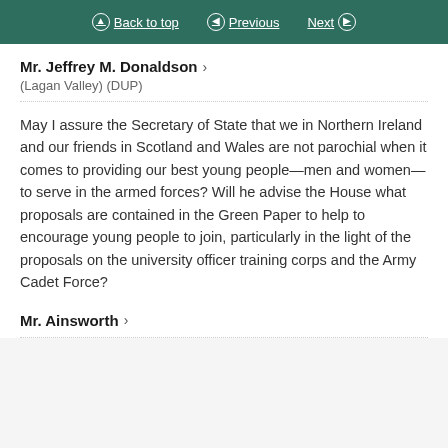Back to top | Previous | Next
Mr. Jeffrey M. Donaldson
(Lagan Valley) (DUP)
May I assure the Secretary of State that we in Northern Ireland and our friends in Scotland and Wales are not parochial when it comes to providing our best young people—men and women—to serve in the armed forces? Will he advise the House what proposals are contained in the Green Paper to help to encourage young people to join, particularly in the light of the proposals on the university officer training corps and the Army Cadet Force?
Mr. Ainsworth